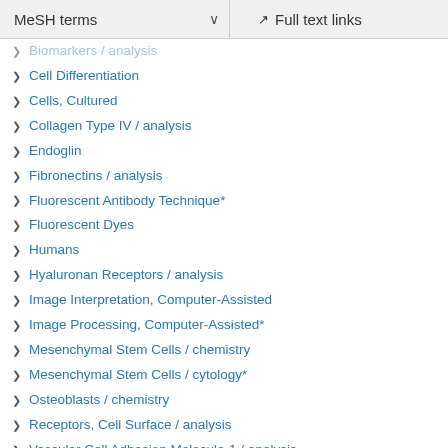MeSH terms   Full text links
Biomarkers / analysis
Cell Differentiation
Cells, Cultured
Collagen Type IV / analysis
Endoglin
Fibronectins / analysis
Fluorescent Antibody Technique*
Fluorescent Dyes
Humans
Hyaluronan Receptors / analysis
Image Interpretation, Computer-Assisted
Image Processing, Computer-Assisted*
Mesenchymal Stem Cells / chemistry
Mesenchymal Stem Cells / cytology*
Osteoblasts / chemistry
Receptors, Cell Surface / analysis
Vascular Cell Adhesion Molecule-1 / analysis